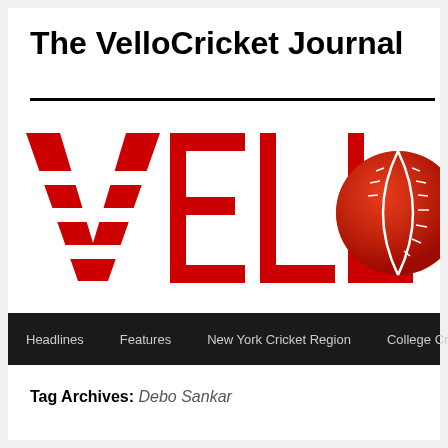The VelloCricket Journal
[Figure (logo): VelloCricket logo showing 'VELLO' in large red block letters with horizontal bar cuts through the letters, and a red cricket ball on the right side]
Headlines  Features  New York Cricket Region  College Cricket
Tag Archives: Debo Sankar